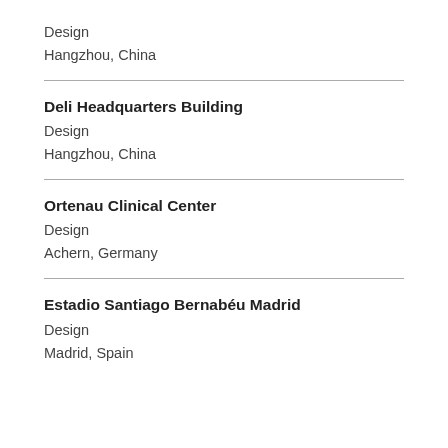Design
Hangzhou, China
Deli Headquarters Building
Design
Hangzhou, China
Ortenau Clinical Center
Design
Achern, Germany
Estadio Santiago Bernabéu Madrid
Design
Madrid, Spain